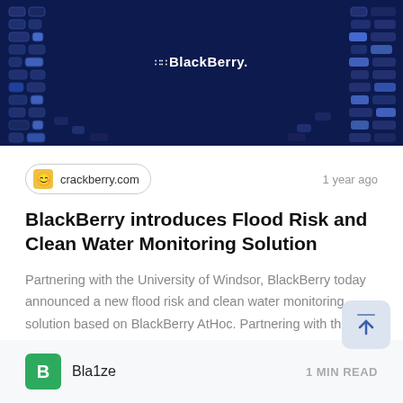[Figure (photo): BlackBerry branded dark navy banner with keyboard/grid pattern background and BlackBerry logo centered in white]
crackberry.com
1 year ago
BlackBerry introduces Flood Risk and Clean Water Monitoring Solution
Partnering with the University of Windsor, BlackBerry today announced a new flood risk and clean water monitoring solution based on BlackBerry AtHoc. Partnering with the University of Windsor, BlackBerry today announced...
Bla1ze
1 MIN READ